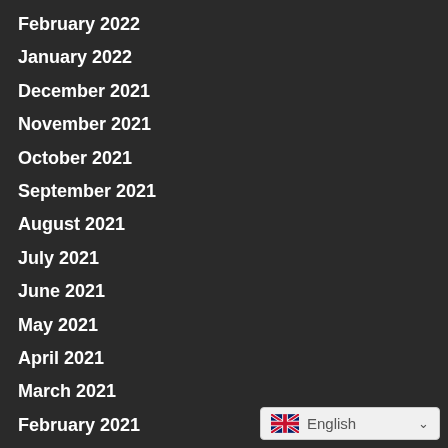February 2022
January 2022
December 2021
November 2021
October 2021
September 2021
August 2021
July 2021
June 2021
May 2021
April 2021
March 2021
February 2021
January 2021
December 2020
[Figure (other): Language selector widget showing UK flag and English text with dropdown arrow]